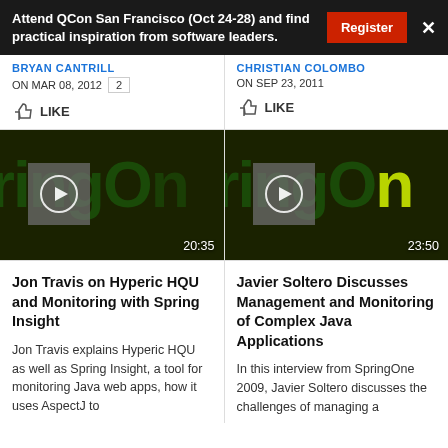Attend QCon San Francisco (Oct 24-28) and find practical inspiration from software leaders.
BRYAN CANTRILL
ON MAR 08, 2012  2
LIKE
CHRISTIAN COLOMBO
ON SEP 23, 2011
LIKE
[Figure (screenshot): SpringOne video thumbnail showing partial SpringOne logo text in dark green, with gray play button overlay and duration 20:35]
[Figure (screenshot): SpringOne video thumbnail showing partial SpringOne logo text in dark green with yellow-green highlight, with gray play button overlay and duration 23:50]
Jon Travis on Hyperic HQU and Monitoring with Spring Insight
Javier Soltero Discusses Management and Monitoring of Complex Java Applications
Jon Travis explains Hyperic HQU as well as Spring Insight, a tool for monitoring Java web apps, how it uses AspectJ to
In this interview from SpringOne 2009, Javier Soltero discusses the challenges of managing a